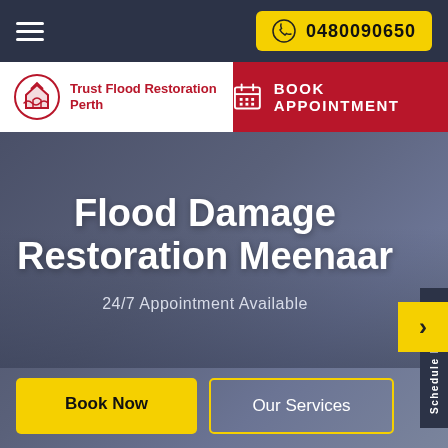0480090650
[Figure (screenshot): Trust Flood Restoration Perth logo with house/flood icon in red circle]
Trust Flood Restoration Perth
BOOK APPOINTMENT
Flood Damage Restoration Meenaar
24/7 Appointment Available
Book Now
Our Services
Schedule Booking